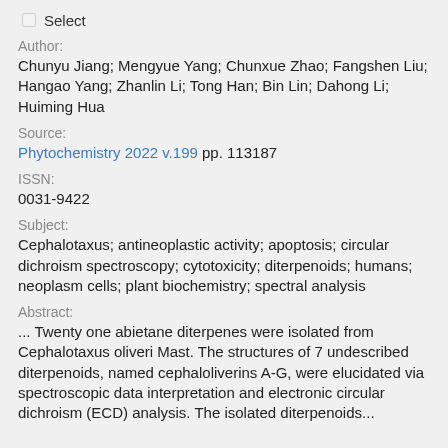☐ Select
Author:
Chunyu Jiang; Mengyue Yang; Chunxue Zhao; Fangshen Liu; Hangao Yang; Zhanlin Li; Tong Han; Bin Lin; Dahong Li; Huiming Hua
Source:
Phytochemistry 2022 v.199 pp. 113187
ISSN:
0031-9422
Subject:
Cephalotaxus; antineoplastic activity; apoptosis; circular dichroism spectroscopy; cytotoxicity; diterpenoids; humans; neoplasm cells; plant biochemistry; spectral analysis
Abstract:
... Twenty one abietane diterpenes were isolated from Cephalotaxus oliveri Mast. The structures of 7 undescribed diterpenoids, named cephaloliverins A-G, were elucidated via spectroscopic data interpretation and electronic circular dichroism (ECD) analysis. The isolated diterpenoids...